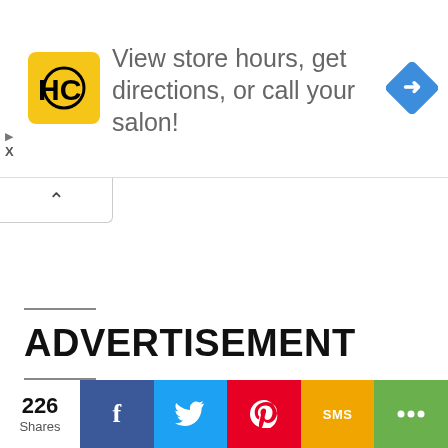[Figure (screenshot): Advertisement banner with HC (Hairclub) yellow logo, text 'View store hours, get directions, or call your salon!', and a blue diamond directions icon on the right.]
ADVERTISEMENT
READ ABOUT WORLD
226 Shares